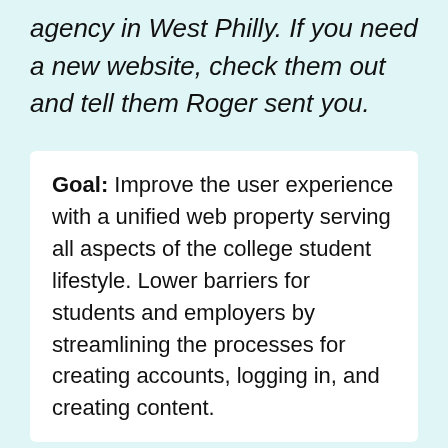agency in West Philly. If you need a new website, check them out and tell them Roger sent you.
Goal: Improve the user experience with a unified web property serving all aspects of the college student lifestyle. Lower barriers for students and employers by streamlining the processes for creating accounts, logging in, and creating content.
Challenge: In 2018 Campus Philly's web presence consisted of three distinct properties